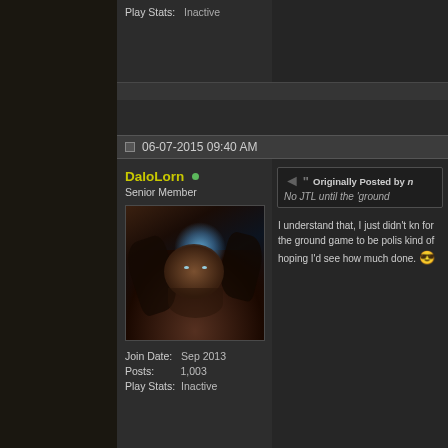Play Stats: Inactive
06-07-2015 09:40 AM
DaloLorn
Senior Member
[Figure (photo): User avatar showing a dark fantasy creature with blue glowing energy]
Join Date: Sep 2013
Posts: 1,003
Play Stats: Inactive
Originally Posted by n
No JTL until the 'ground
I understand that, I just didn't kn for the ground game to be polis kind of hoping I'd see how much done. 😎
European RPer. Tried to move o amidst an empire in flames inst
06-07-2015 09:44 AM
Colindr
Originally Posted by D